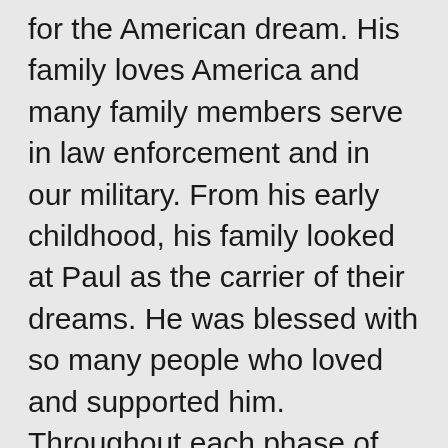for the American dream. His family loves America and many family members serve in law enforcement and in our military. From his early childhood, his family looked at Paul as the carrier of their dreams. He was blessed with so many people who loved and supported him. Throughout each phase of his life, Paul had a large outpouring of people in his life who saw goodness and promise in him. He was always known as a gentle, nurturing and loving soul.

Paul's hard work paid off very early on in life. In sixth grade, he gained a three-year academic scholarship to